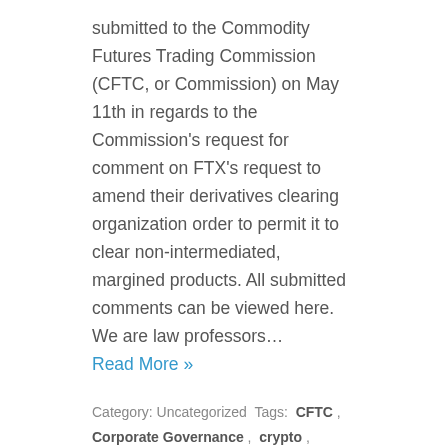submitted to the Commodity Futures Trading Commission (CFTC, or Commission) on May 11th in regards to the Commission's request for comment on FTX's request to amend their derivatives clearing organization order to permit it to clear non-intermediated, margined products. All submitted comments can be viewed here. We are law professors… Read More »
Category: Uncategorized Tags: CFTC, Corporate Governance, crypto, Economics, finance, FinTech, investors, Regulation
The Media Goes Where They're Needed: The